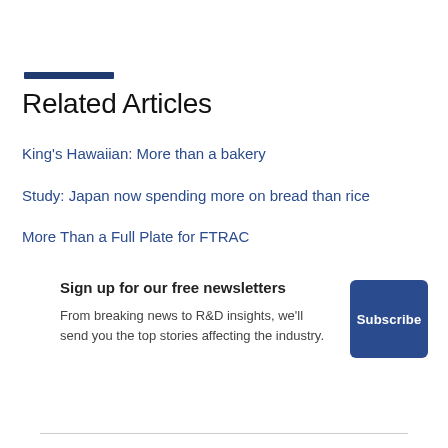Related Articles
King's Hawaiian: More than a bakery
Study: Japan now spending more on bread than rice
More Than a Full Plate for FTRAC
Sign up for our free newsletters
From breaking news to R&D insights, we'll send you the top stories affecting the industry.